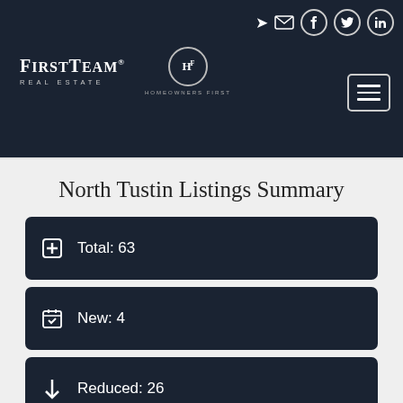FirstTeam Real Estate — Homeowners First — Navigation header
North Tustin Listings Summary
Total: 63
New: 4
Reduced: 26
Open House: 7